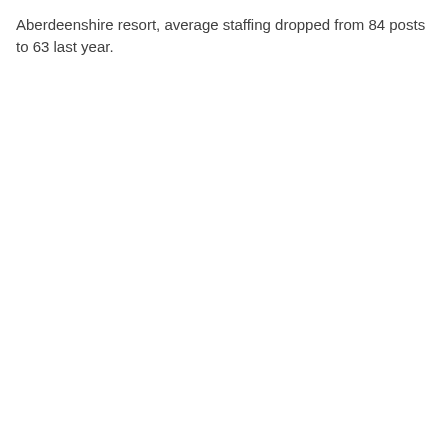Aberdeenshire resort, average staffing dropped from 84 posts to 63 last year.